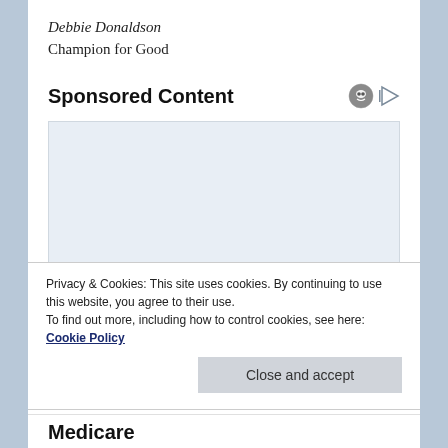Debbie Donaldson
Champion for Good
Sponsored Content
[Figure (other): Advertisement placeholder area (light blue/gray background)]
Privacy & Cookies: This site uses cookies. By continuing to use this website, you agree to their use.
To find out more, including how to control cookies, see here: Cookie Policy
Close and accept
Medicare